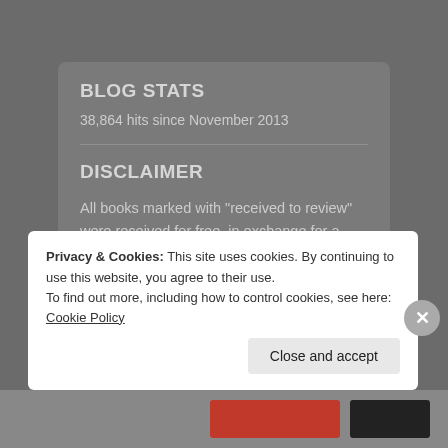BLOG STATS
38,864 hits since November 2013
DISCLAIMER
All books marked with "received to review" were received for free, in exchange for a review. If I have any personal relationship with the author, I also disclose that in the text of the review.
Privacy & Cookies: This site uses cookies. By continuing to use this website, you agree to their use.
To find out more, including how to control cookies, see here: Cookie Policy
Close and accept